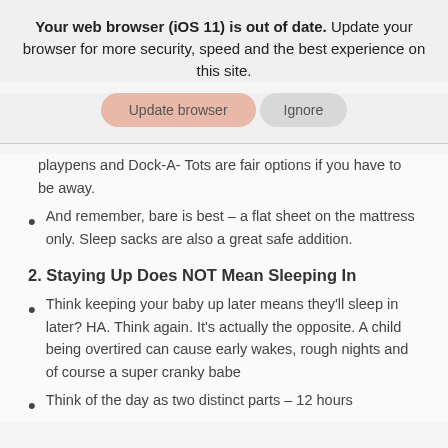Your web browser (iOS 11) is out of date. Update your browser for more security, speed and the best experience on this site.
[Figure (screenshot): Two buttons: 'Update browser' (salmon/pink rounded) and 'Ignore' (grey rounded)]
playpens and Dock-A- Tots are fair options if you have to be away.
And remember, bare is best – a flat sheet on the mattress only. Sleep sacks are also a great safe addition.
2. Staying Up Does NOT Mean Sleeping In
Think keeping your baby up later means they'll sleep in later? HA. Think again. It's actually the opposite. A child being overtired can cause early wakes, rough nights and of course a super cranky babe
Think of the day as two distinct parts – 12 hours